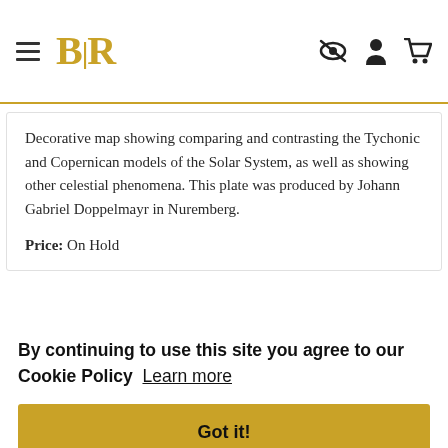BLR (logo with hamburger menu and icons)
Decorative map showing comparing and contrasting the Tychonic and Copernican models of the Solar System, as well as showing other celestial phenomena. This plate was produced by Johann Gabriel Doppelmayr in Nuremberg.
Price: On Hold
By continuing to use this site you agree to our Cookie Policy  Learn more
Got it!
[Figure (photo): Bottom strip showing partial antique decorative map image]